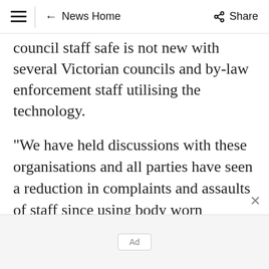≡  ← News Home  Share
council staff safe is not new with several Victorian councils and by-law enforcement staff utilising the technology.
"We have held discussions with these organisations and all parties have seen a reduction in complaints and assaults of staff since using body worn cameras," Mr Brady said.